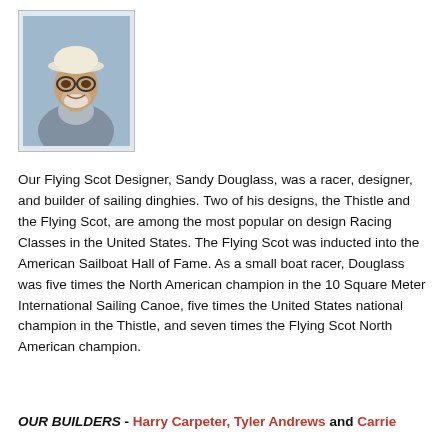[Figure (photo): Black and white / color photo of Sandy Douglass, an elderly man wearing a white bucket hat and glasses, smiling, outdoors.]
Our Flying Scot Designer, Sandy Douglass, was a racer, designer, and builder of sailing dinghies. Two of his designs, the Thistle and the Flying Scot, are among the most popular on design Racing Classes in the United States. The Flying Scot was inducted into the American Sailboat Hall of Fame. As a small boat racer, Douglass was five times the North American champion in the 10 Square Meter International Sailing Canoe, five times the United States national champion in the Thistle, and seven times the Flying Scot North American champion.
OUR BUILDERS - Harry Carpeter, Tyler Andrews and Carrie